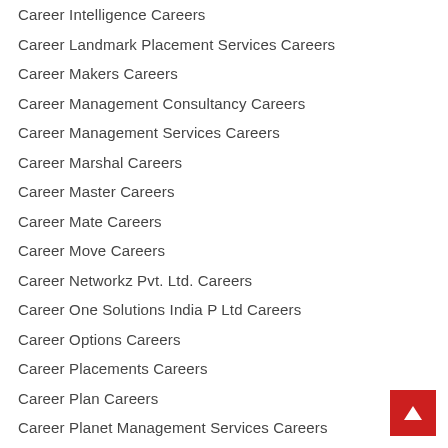Career Intelligence Careers
Career Landmark Placement Services Careers
Career Makers Careers
Career Management Consultancy Careers
Career Management Services Careers
Career Marshal Careers
Career Master Careers
Career Mate Careers
Career Move Careers
Career Networkz Pvt. Ltd. Careers
Career One Solutions India P Ltd Careers
Career Options Careers
Career Placements Careers
Career Plan Careers
Career Planet Management Services Careers
CAREER POINT C...